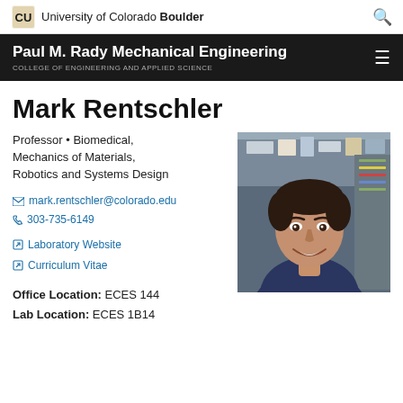University of Colorado Boulder
Paul M. Rady Mechanical Engineering
COLLEGE OF ENGINEERING AND APPLIED SCIENCE
Mark Rentschler
Professor • Biomedical, Mechanics of Materials, Robotics and Systems Design
mark.rentschler@colorado.edu
303-735-6149
Laboratory Website
Curriculum Vitae
[Figure (photo): Headshot of Mark Rentschler, smiling man in a dark blue shirt, in a laboratory setting]
Office Location: ECES 144
Lab Location: ECES 1B14